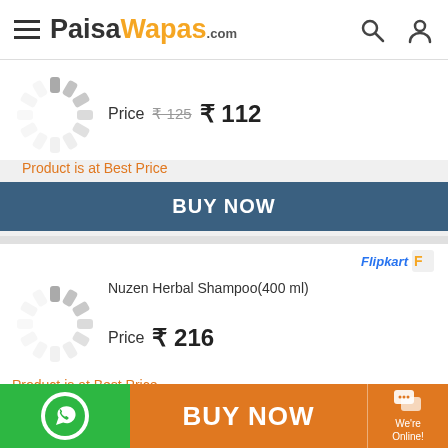PaisaWapas.com
Price ₹125 ₹112
Product is at Best Price
BUY NOW
Flipkart
Nuzen Herbal Shampoo(400 ml)
Price ₹216
Product is at Best Price
BUY NOW
BUY NOW
We're Online!